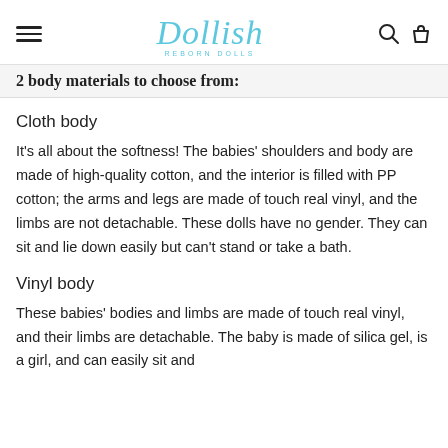Dollish
2 body materials to choose from:
Cloth body
It's all about the softness! The babies' shoulders and body are made of high-quality cotton, and the interior is filled with PP cotton; the arms and legs are made of touch real vinyl, and the limbs are not detachable. These dolls have no gender. They can sit and lie down easily but can't stand or take a bath.
Vinyl body
These babies' bodies and limbs are made of touch real vinyl, and their limbs are detachable. The baby is made of silica gel, is a girl, and can easily sit and